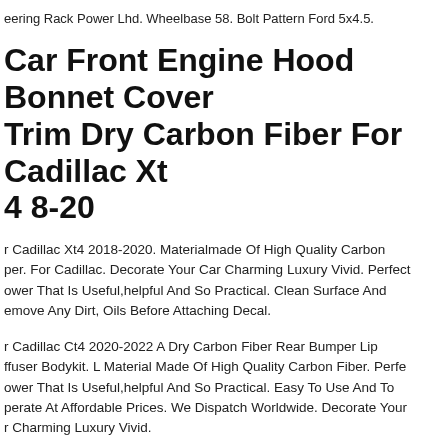eering Rack Power Lhd. Wheelbase 58. Bolt Pattern Ford 5x4.5.
Car Front Engine Hood Bonnet Cover Trim Dry Carbon Fiber For Cadillac Xt4 18-20
r Cadillac Xt4 2018-2020. Materialmade Of High Quality Carbon per. For Cadillac. Decorate Your Car Charming Luxury Vivid. Perfect ower That Is Useful,helpful And So Practical. Clean Surface And emove Any Dirt, Oils Before Attaching Decal.
r Cadillac Ct4 2020-2022 A Dry Carbon Fiber Rear Bumper Lip ffuser Bodykit. L Material Made Of High Quality Carbon Fiber. Perfe ower That Is Useful,helpful And So Practical. Easy To Use And To perate At Affordable Prices. We Dispatch Worldwide. Decorate Your r Charming Luxury Vivid.